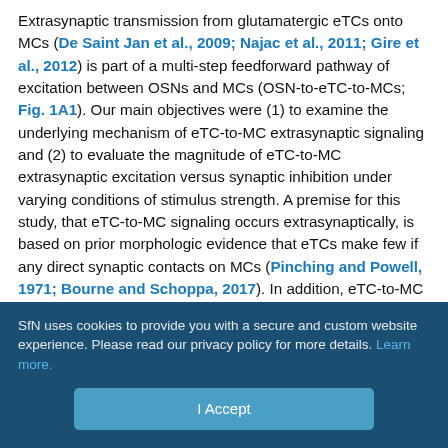Extrasynaptic transmission from glutamatergic eTCs onto MCs (De Saint Jan et al., 2009; Najac et al., 2011; Gire et al., 2012) is part of a multi-step feedforward pathway of excitation between OSNs and MCs (OSN-to-eTC-to-MCs; Fig. 1A1). Our main objectives were (1) to examine the underlying mechanism of eTC-to-MC extrasynaptic signaling and (2) to evaluate the magnitude of eTC-to-MC extrasynaptic excitation versus synaptic inhibition under varying conditions of stimulus strength. A premise for this study, that eTC-to-MC signaling occurs extrasynaptically, is based on prior morphologic evidence that eTCs make few if any direct synaptic contacts on MCs (Pinching and Powell, 1971; Bourne and Schoppa, 2017). In addition, eTC-to-MC currents are selectively attenuated by a low-affinity AMPA receptor antagonist (Gire et al., 2012). This
SfN uses cookies to provide you with a secure and custom website experience. Please read our privacy policy for more details. Learn more.
I Accept